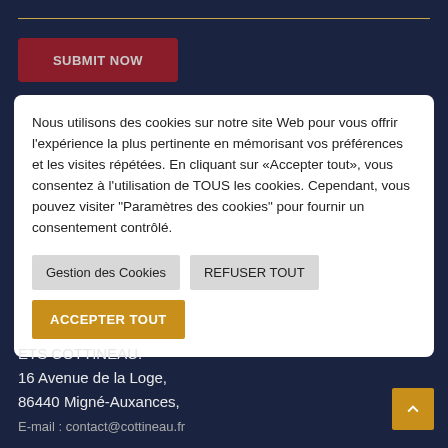[Figure (screenshot): Dark navy background with a gold horizontal line at the top]
SUBMIT NOW
Nous utilisons des cookies sur notre site Web pour vous offrir l'expérience la plus pertinente en mémorisant vos préférences et les visites répétées. En cliquant sur «Accepter tout», vous consentez à l'utilisation de TOUS les cookies. Cependant, vous pouvez visiter "Paramètres des cookies" pour fournir un consentement contrôlé.
Gestion des Cookies
REFUSER TOUT
ACCEPTER TOUT
ETS COTTINEAU.
16 Avenue de la Loge,
86440 Migné-Auxances,
E-mail : contact@cottineau.fr